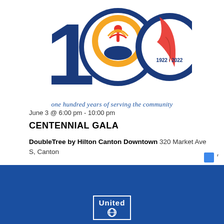[Figure (logo): United Way 100th anniversary centennial logo — large navy '1', yellow/orange circular emblem with blue human figure and hands in the center '0', red feather quill in the right '0' with '1922·2022' text, all on white background]
one hundred years of serving the community
June 3 @ 6:00 pm - 10:00 pm
CENTENNIAL GALA
DoubleTree by Hilton Canton Downtown 320 Market Ave S, Canton
[Figure (logo): Partial reCAPTCHA badge in bottom-right corner]
United Way footer bar with logo